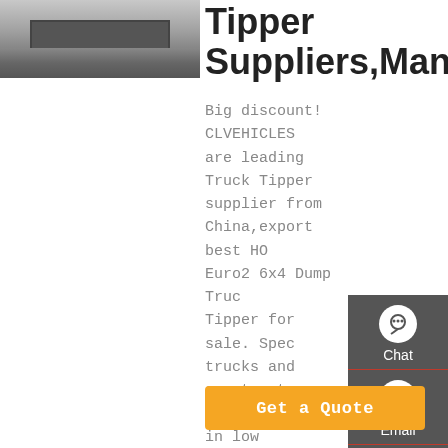[Figure (photo): Front view of a truck/tipper vehicle, gray tones]
Tipper Suppliers,Manufacturers
Big discount! CLVEHICLES are leading Truck Tipper supplier from China,export best HOWO Euro2 6x4 Dump Truck Tipper for sale. Special trucks and construction equipment are in low factory price. Hot brand chassis: ISUZU,FAW,BEIBEN,SHACMAN,
Chat
Email
Contact
Top
Get a Quote